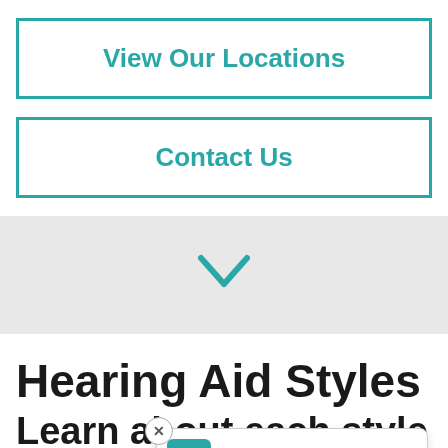[Figure (other): Teal-outlined button labeled 'View Our Locations']
[Figure (other): Teal-outlined button labeled 'Contact Us']
[Figure (other): Gray section with a teal downward chevron arrow]
Hearing Aid Styles
Learn about each style to
[Figure (other): Popup badge with teal calendar icon and text 'Request Appointment', with a close (x) button]